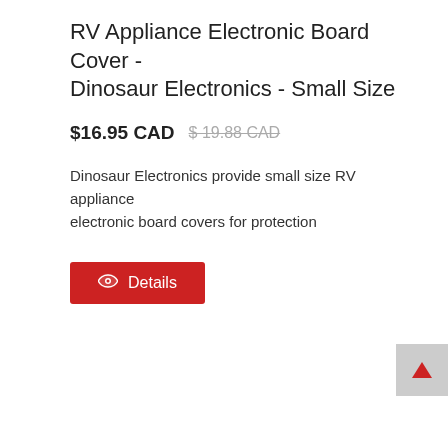RV Appliance Electronic Board Cover - Dinosaur Electronics - Small Size
$16.95 CAD  $ 19.88 CAD
Dinosaur Electronics provide small size RV appliance electronic board covers for protection
[Figure (other): Red 'Details' button with eye icon]